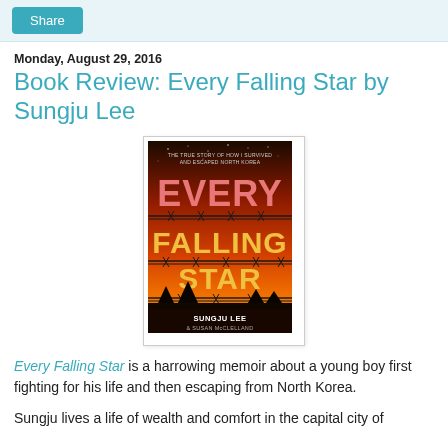Share
Monday, August 29, 2016
Book Review: Every Falling Star by Sungju Lee
[Figure (photo): Book cover of 'Every Falling Star' by Sungju Lee & Susan McClelland. Dark red/orange sky background with barbed wire silhouette. Text reads: THE TRUE STORY OF HOW I SURVIVED AND ESCAPED NORTH KOREA. EVERY FALLING STAR. SUNGJU LEE & SUSAN McCLELLAND.]
Every Falling Star is a harrowing memoir about a young boy first fighting for his life and then escaping from North Korea.
Sungju lives a life of wealth and comfort in the capital city of